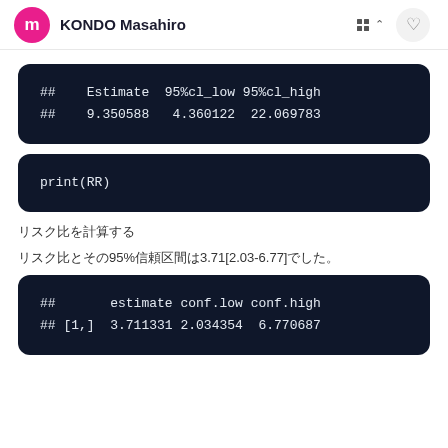KONDO Masahiro
## Estimate 95%cl_low 95%cl_high
## 9.350588 4.360122 22.069783
print(RR)
リスク比を計算する
リスク比とその95%信頼区間は3.71[2.03-6.77]でした。
##      estimate conf.low conf.high
## [1,] 3.711331 2.034354  6.770687